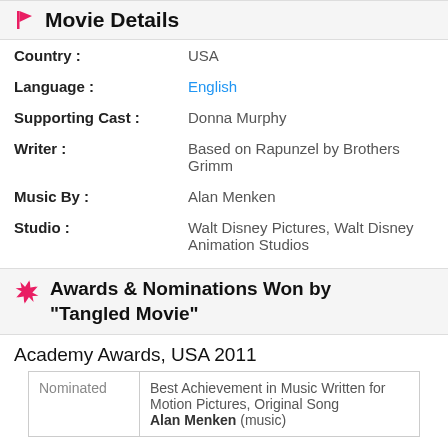Movie Details
| Label | Value |
| --- | --- |
| Country : | USA |
| Language : | English |
| Supporting Cast : | Donna Murphy |
| Writer : | Based on Rapunzel by Brothers Grimm |
| Music By : | Alan Menken |
| Studio : | Walt Disney Pictures, Walt Disney Animation Studios |
Awards & Nominations Won by "Tangled Movie"
Academy Awards, USA 2011
|  |  |
| --- | --- |
| Nominated | Best Achievement in Music Written for Motion Pictures, Original Song
Alan Menken (music) |